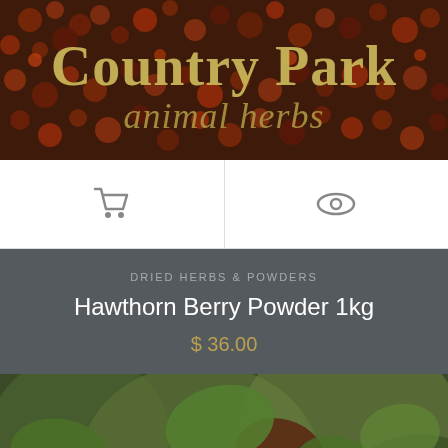[Figure (logo): Country Park Animal Herbs brand header banner with dried red/brown berries background. Text reads 'Country Park' in bold serif golden font and 'animal herbs' in italic golden font below.]
[Figure (screenshot): White icon bar with two icons: a shopping cart icon on the left and an eye/view icon on the right, separated by a vertical divider.]
DRIED HERBS & POWDERS
Hawthorn Berry Powder 1kg
$ 36.00
[Figure (photo): Close-up photograph of hawthorn berries on a branch. Bright red round berries cluster among dark autumn leaves (green and reddish-brown). Soft bokeh background with muted greens and reds. A white upward chevron arrow is visible in the lower right corner.]